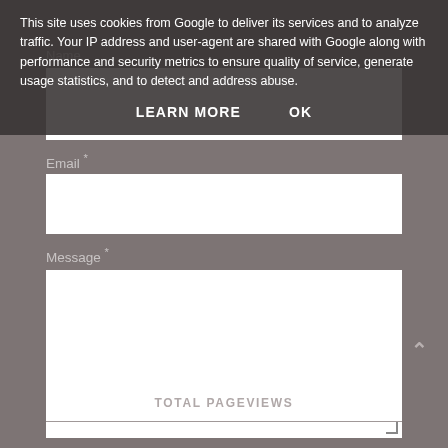This site uses cookies from Google to deliver its services and to analyze traffic. Your IP address and user-agent are shared with Google along with performance and security metrics to ensure quality of service, generate usage statistics, and to detect and address abuse.
LEARN MORE    OK
Name
[Figure (screenshot): Name input text field (empty)]
Email *
[Figure (screenshot): Email input text field (empty)]
Message *
[Figure (screenshot): Message textarea (empty, resizable)]
SEND
TOTAL PAGEVIEWS